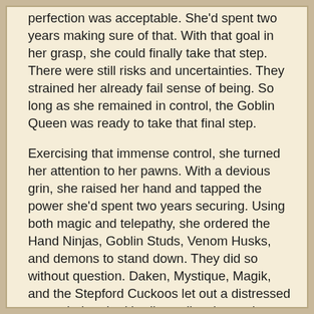perfection was acceptable. She'd spent two years making sure of that. With that goal in her grasp, she could finally take that step. There were still risks and uncertainties. They strained her already fail sense of being. So long as she remained in control, the Goblin Queen was ready to take that final step.
Exercising that immense control, she turned her attention to her pawns. With a devious grin, she raised her hand and tapped the power she'd spent two years securing. Using both magic and telepathy, she ordered the Hand Ninjas, Goblin Studs, Venom Husks, and demons to stand down. They did so without question. Daken, Mystique, Magik, and the Stepford Cuckoos let out a distressed gasp, their naked bodies collapsing to the floor in a heap of sweat, sex, and despair.
“Get up, you pussies! The queen demands your attention!” Carnage said, the only one still full of energy and excited about their queen’s next move.
Madelyne cast the deranged killer a bemused